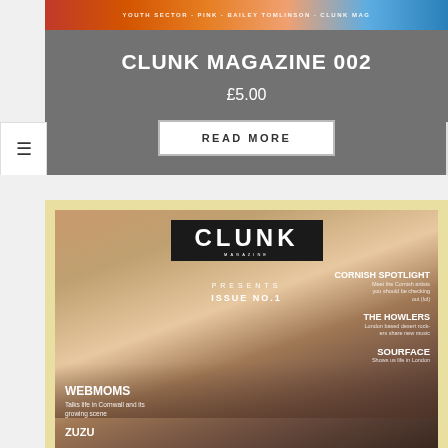[Figure (photo): Top banner image with colorful magazine cover strip showing text partially visible]
CLUNK MAGAZINE 002
£5.00
READ MORE
[Figure (photo): Clunk Magazine Issue No. 1 cover featuring a close-up of a person wearing a yellow/mustard corduroy hat, with magazine sections listed: Cornish Spotlight, The Howlers, Sourface, Webmoms, Zuzu]